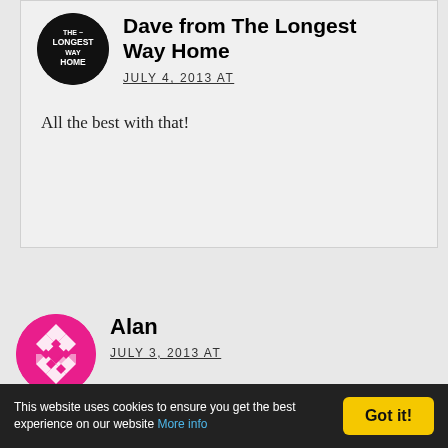[Figure (logo): Circular black logo with white text reading THE LONGEST WAY HOME]
Dave from The Longest Way Home
JULY 4, 2013 AT
All the best with that!
[Figure (illustration): Circular pink/magenta avatar with geometric diamond/cross pattern]
Alan
JULY 3, 2013 AT
Appreciate your honesty. It's just amazing to see so many agencies looking for volunteers only to charge more than a hotel at the end.
This website uses cookies to ensure you get the best experience on our website More info